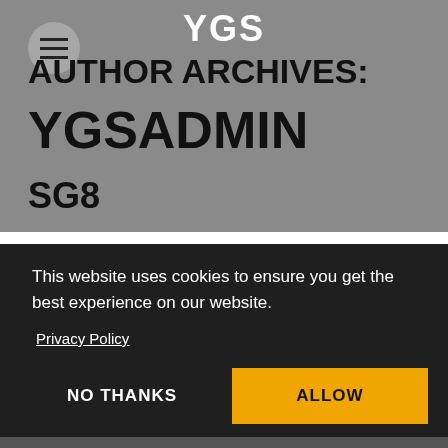YGS
AUTHOR ARCHIVES: YGSADMIN
SG8
This website uses cookies to ensure you get the best experience on our website.
Privacy Policy
NO THANKS
ALLOW